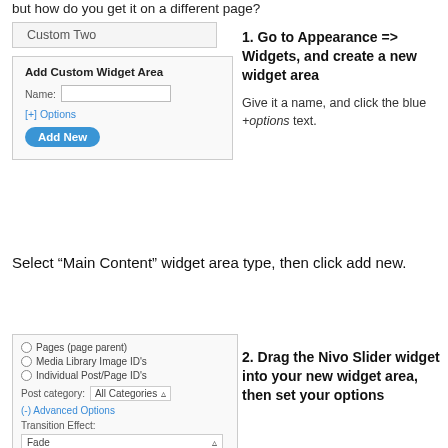but how do you get it on a different page?
[Figure (screenshot): WordPress widget admin panel showing 'Custom Two' tab and 'Add Custom Widget Area' form with Name field, [+] Options link, and Add New button]
1. Go to Appearance => Widgets, and create a new widget area
Give it a name, and click the blue +options text.
Select “Main Content” widget area type, then click add new.
[Figure (screenshot): WordPress widget options panel showing radio buttons for Pages, Media Library Image IDs, Individual Post/Page IDs, Post category dropdown, Advanced Options link, Transition Effect dropdown set to Fade, Featured Items max 4, Overlay Opacity 0.8, Transition Speed 600]
2. Drag the Nivo Slider widget into your new widget area, then set your options